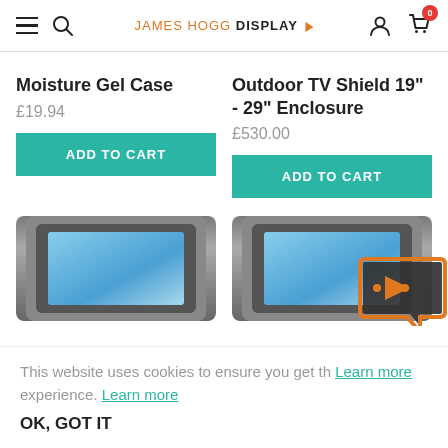JAMES HOGG DISPLAY
Moisture Gel Case
£19.94
ADD TO CART
Outdoor TV Shield 19" - 29" Enclosure
£530.00
ADD TO CART
[Figure (photo): TV enclosure product image showing a rugged outdoor display enclosure with a screen showing a blue sky scene]
[Figure (photo): TV enclosure product image showing a rugged outdoor display enclosure with a screen showing a blue sky scene]
This website uses cookies to ensure you get the best experience. Learn more
OK, GOT IT